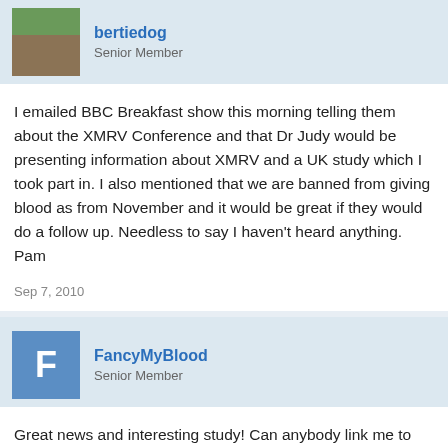bertiedog
Senior Member
I emailed BBC Breakfast show this morning telling them about the XMRV Conference and that Dr Judy would be presenting information about XMRV and a UK study which I took part in. I also mentioned that we are banned from giving blood as from November and it would be great if they would do a follow up. Needless to say I haven't heard anything.
Pam
Sep 7, 2010
FancyMyBlood
Senior Member
Great news and interesting study! Can anybody link me to the full text?
Now let's hope this will be the stepping stone for the BBC to